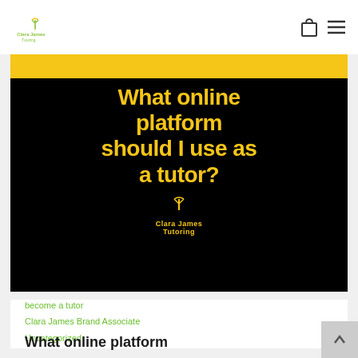Clara James Tutoring
[Figure (illustration): Black background banner image with gold bar at top and bold yellow text reading 'What online platform should I use as a tutor?' with Clara James Tutoring logo at bottom]
become a tutor
Clara James Brand Associate
Uncategorized
What online platform